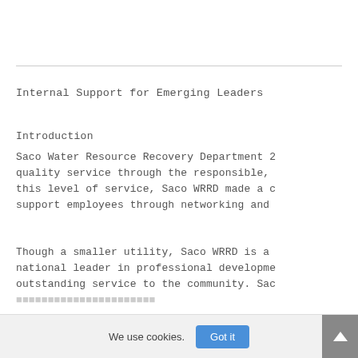Internal Support for Emerging Leaders
Introduction
Saco Water Resource Recovery Department 2 quality service through the responsible, this level of service, Saco WRRD made a c support employees through networking and
Though a smaller utility, Saco WRRD is a national leader in professional developme outstanding service to the community. Sac ...